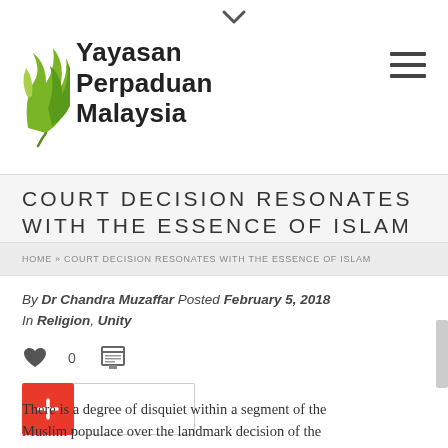[Figure (logo): Yayasan Perpaduan Malaysia logo with green leaf icon and bold black text]
COURT DECISION RESONATES WITH THE ESSENCE OF ISLAM
HOME » COURT DECISION RESONATES WITH THE ESSENCE OF ISLAM
By Dr Chandra Muzaffar Posted February 5, 2018
In Religion, Unity
There is a degree of disquiet within a segment of the Muslim populace over the landmark decision of the